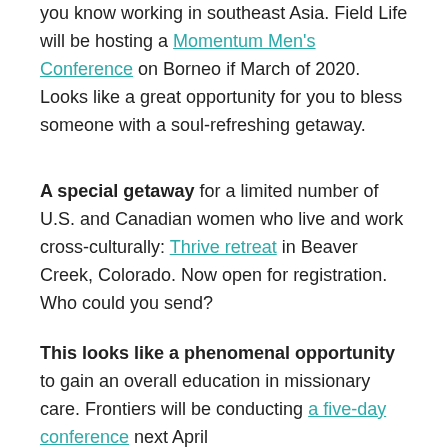you know working in southeast Asia. Field Life will be hosting a Momentum Men's Conference on Borneo if March of 2020. Looks like a great opportunity for you to bless someone with a soul-refreshing getaway.
A special getaway for a limited number of U.S. and Canadian women who live and work cross-culturally: Thrive retreat in Beaver Creek, Colorado. Now open for registration. Who could you send?
This looks like a phenomenal opportunity to gain an overall education in missionary care. Frontiers will be conducting a five-day conference next April